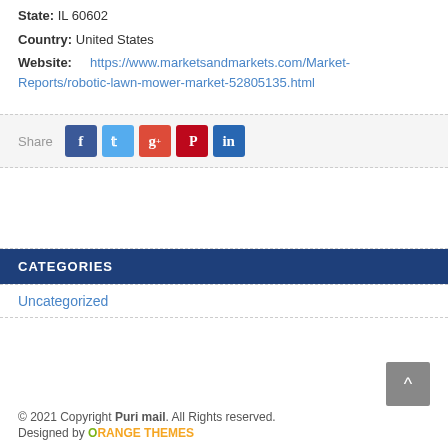State: IL 60602
Country: United States
Website: https://www.marketsandmarkets.com/Market-Reports/robotic-lawn-mower-market-52805135.html
[Figure (infographic): Share bar with social media icons: Facebook (blue), Twitter (cyan), Google+ (orange-red), Pinterest (red), LinkedIn (dark blue)]
CATEGORIES
Uncategorized
© 2021 Copyright Puri mail. All Rights reserved. Designed by ORANGE THEMES